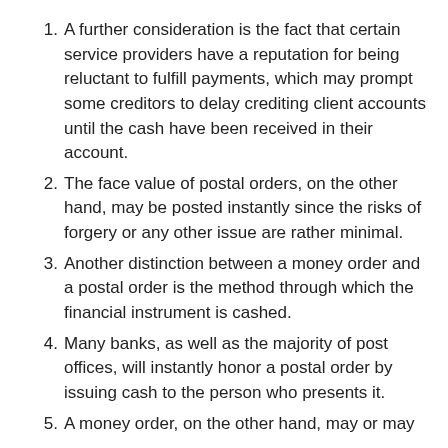A further consideration is the fact that certain service providers have a reputation for being reluctant to fulfill payments, which may prompt some creditors to delay crediting client accounts until the cash have been received in their account.
The face value of postal orders, on the other hand, may be posted instantly since the risks of forgery or any other issue are rather minimal.
Another distinction between a money order and a postal order is the method through which the financial instrument is cashed.
Many banks, as well as the majority of post offices, will instantly honor a postal order by issuing cash to the person who presents it.
A money order, on the other hand, may or may